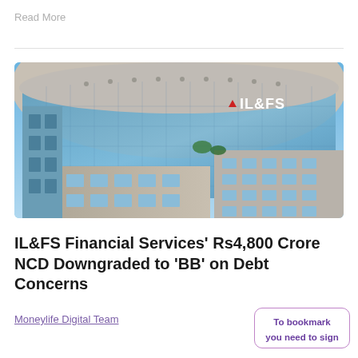Read More
[Figure (photo): IL&FS headquarters building — a large curved glass-fronted office tower with IL&FS logo visible on the facade]
IL&FS Financial Services' Rs4,800 Crore NCD Downgraded to 'BB' on Debt Concerns
Moneylife Digital Team
To bookmark you need to sign